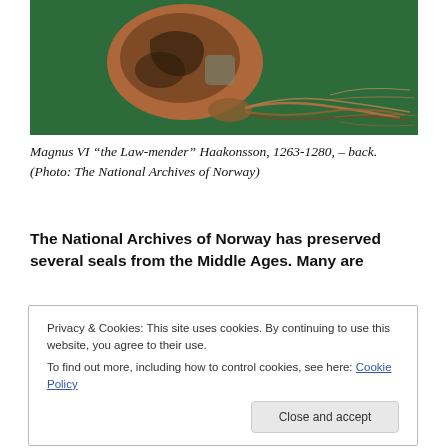[Figure (photo): Close-up photograph of a medieval wax seal from the back, showing a brown/terracotta colored seal impression attached to braided reddish-brown cord/threads, on a green background. The seal of Magnus VI 'the Law-mender' Haakonsson, 1263-1280.]
Magnus VI “the Law-mender” Haakonsson, 1263-1280, – back. (Photo: The National Archives of Norway)
The National Archives of Norway has preserved several seals from the Middle Ages. Many are
Privacy & Cookies: This site uses cookies. By continuing to use this website, you agree to their use.
To find out more, including how to control cookies, see here: Cookie Policy
Close and accept